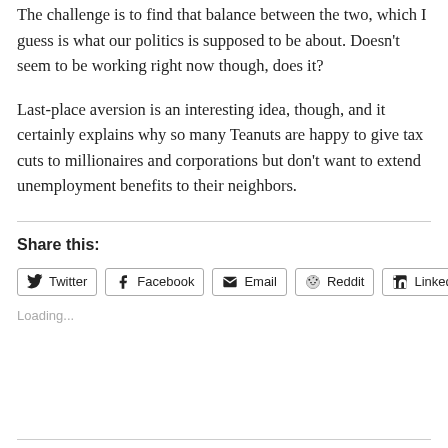The challenge is to find that balance between the two, which I guess is what our politics is supposed to be about. Doesn't seem to be working right now though, does it?
Last-place aversion is an interesting idea, though, and it certainly explains why so many Teanuts are happy to give tax cuts to millionaires and corporations but don't want to extend unemployment benefits to their neighbors.
Share this:
Twitter  Facebook  Email  Reddit  LinkedIn
Loading...